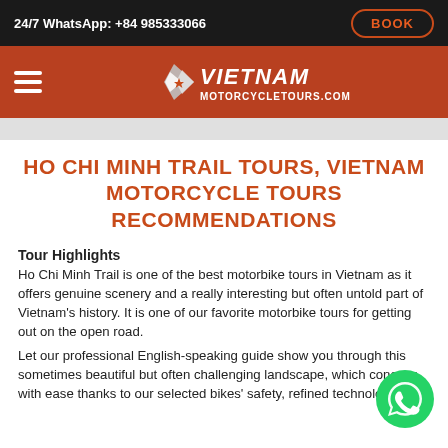24/7 WhatsApp: +84 985333066  BOOK
[Figure (logo): Vietnam Motorcycle Tours logo on red/orange navigation bar with hamburger menu]
HO CHI MINH TRAIL TOURS, VIETNAM MOTORCYCLE TOURS RECOMMENDATIONS
Tour Highlights
Ho Chi Minh Trail is one of the best motorbike tours in Vietnam as it offers genuine scenery and a really interesting but often untold part of Vietnam's history. It is one of our favorite motorbike tours for getting out on the open road.
Let our professional English-speaking guide show you through this sometimes beautiful but often challenging landscape, which conquer with ease thanks to our selected bikes' safety, refined technology.
[Figure (illustration): WhatsApp green circular chat bubble icon in bottom right corner]